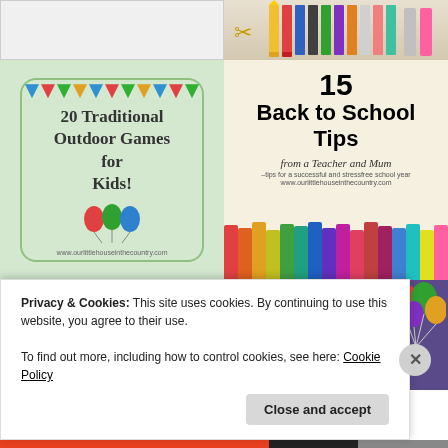[Figure (screenshot): Two-column grid of blog post thumbnails. Top row: blank white card on left, pencils/scissors image on right. Middle row: '20 Traditional Outdoor Games for Kids!' green card on left, '15 Back to School Tips from a Teacher and Mum' beige card with crayons on right. Bottom row: photo of children on left, dark purple 'TOP 10 PARTY' card on right.]
Privacy & Cookies: This site uses cookies. By continuing to use this website, you agree to their use.
To find out more, including how to control cookies, see here: Cookie Policy
Close and accept